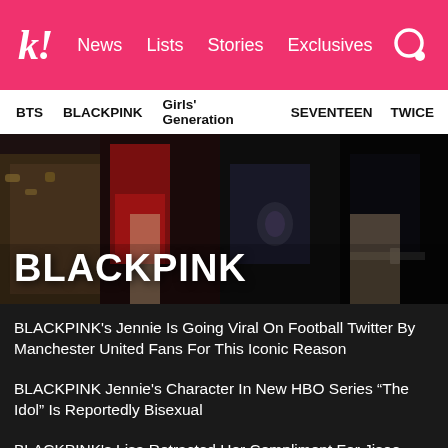k! News Lists Stories Exclusives
BTS BLACKPINK Girls' Generation SEVENTEEN TWICE
[Figure (photo): BLACKPINK group photo with members in dark and colorful outfits, with large white text 'BLACKPINK' overlaid in the lower left]
BLACKPINK's Jennie Is Going Viral On Football Twitter By Manchester United Fans For This Iconic Reason
BLACKPINK Jennie's Character In New HBO Series “The Idol” Is Reportedly Bisexual
BLACKPINK's Lisa Retracted Her Compliment For Jisoo—And Everyone's Reaction Gave Us Life
Fans Uncertain If A New Photo Of BTS's V And BLACKPINK's Jennie Together Is Real Or Fake
See more BLACKPINK